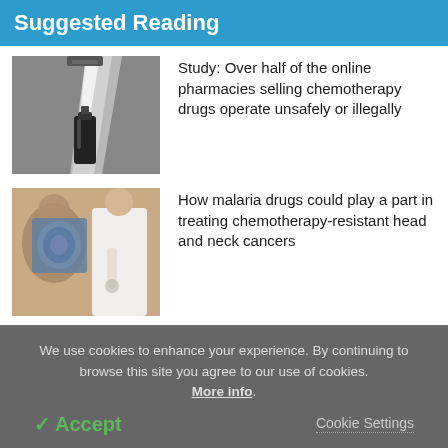Suggested Reading
[Figure (photo): A medical vial/ampule with a bright light cone shining down from above onto it, dark background, black and white photo]
Study: Over half of the online pharmacies selling chemotherapy drugs operate unsafely or illegally
[Figure (photo): A doctor in white coat examining an X-ray or brain scan image, with a patient visible, warm toned photo]
How malaria drugs could play a part in treating chemotherapy-resistant head and neck cancers
We use cookies to enhance your experience. By continuing to browse this site you agree to our use of cookies. More info.
✓ Accept
Cookie Settings